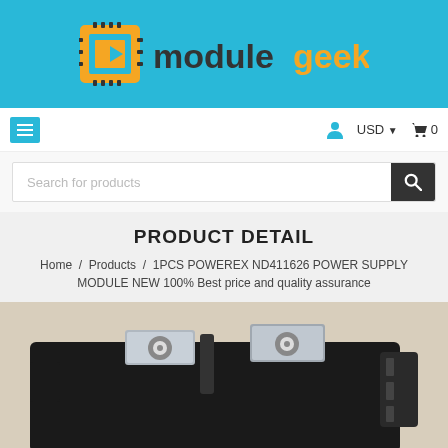[Figure (logo): ModuleGeek logo with orange circuit board icon and 'module' in dark gray, 'geek' in orange text on a blue background]
≡   👤  USD ▼  🛒 0
Search for products
PRODUCT DETAIL
Home / Products / 1PCS POWEREX ND411626 POWER SUPPLY MODULE NEW 100% Best price and quality assurance
[Figure (photo): Photo of a black power supply module (POWEREX ND411626) showing two metal terminal bolts on top, placed on a beige/tan surface]